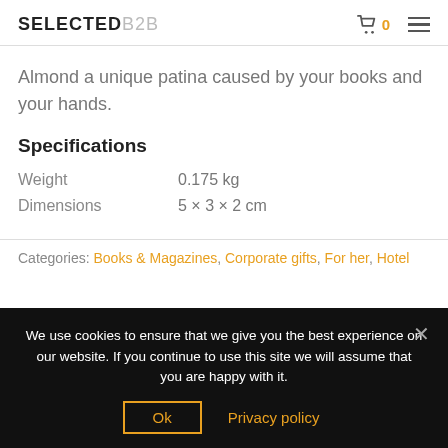SELECTEDB2B
Almond a unique patina caused by your books and your hands.
Specifications
| Property | Value |
| --- | --- |
| Weight | 0.175 kg |
| Dimensions | 5 × 3 × 2 cm |
Categories: Books & Magazines, Corporate gifts, For her, Hotel
We use cookies to ensure that we give you the best experience on our website. If you continue to use this site we will assume that you are happy with it.